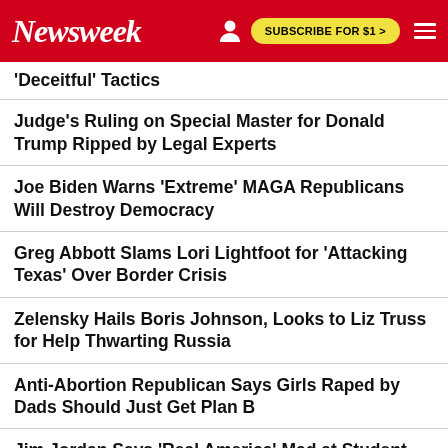Newsweek | SUBSCRIBE FOR $1 >
'Deceitful' Tactics
Judge's Ruling on Special Master for Donald Trump Ripped by Legal Experts
Joe Biden Warns 'Extreme' MAGA Republicans Will Destroy Democracy
Greg Abbott Slams Lori Lightfoot for 'Attacking Texas' Over Border Crisis
Zelensky Hails Boris Johnson, Looks to Liz Truss for Help Thwarting Russia
Anti-Abortion Republican Says Girls Raped by Dads Should Just Get Plan B
Jim Jordan Says 'Real America' Mad at Student Loan Forgiveness for Elites